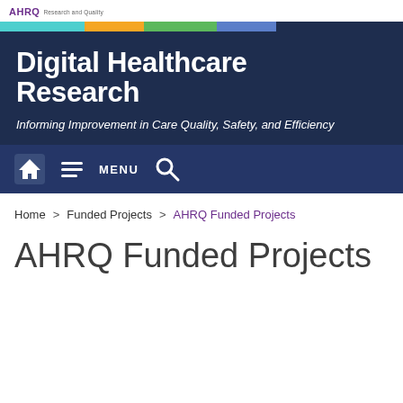AHRQ Research and Quality
[Figure (other): Decorative color stripe bar with teal, orange, green, blue, and navy segments]
Digital Healthcare Research
Informing Improvement in Care Quality, Safety, and Efficiency
[Figure (other): Navigation bar with home icon, menu icon with MENU text, and search icon]
Home > Funded Projects > AHRQ Funded Projects
AHRQ Funded Projects